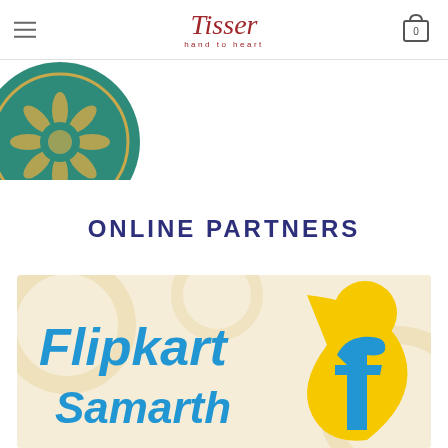Tisser — hand to heart
[Figure (logo): Circular teal/green logo with floral/leaf motif, partially visible at top-left]
ONLINE PARTNERS
[Figure (logo): Flipkart Samarth logo — blue text 'Flipkart Samarth' with yellow mascot figure and stylized 'f' on cream/beige patterned background]